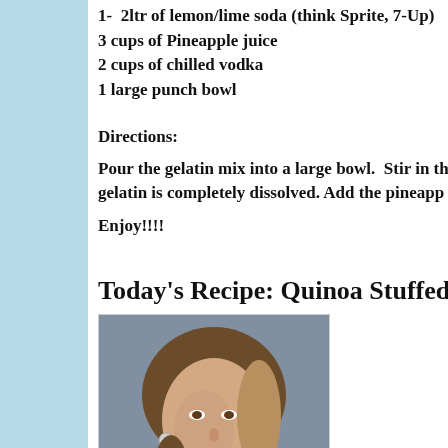1-  2ltr of lemon/lime soda (think Sprite, 7-Up)
3 cups of Pineapple juice
2 cups of chilled vodka
1 large punch bowl
Directions:
Pour the gelatin mix into a large bowl.  Stir in th gelatin is completely dissolved. Add the pineapp
Enjoy!!!!
Today's Recipe: Quinoa Stuffed Ad
[Figure (photo): Portrait photo of a woman with brown hair, wearing earrings and a dark top]
Ingredients